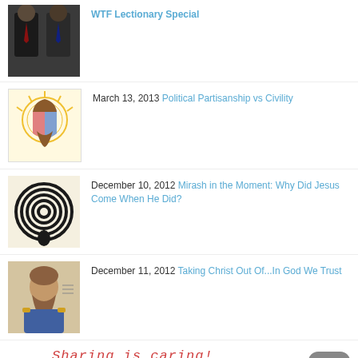WTF Lectionary Special
March 13, 2013 Political Partisanship vs Civility
December 10, 2012 Mirash in the Moment: Why Did Jesus Come When He Did?
December 11, 2012 Taking Christ Out Of...In God We Trust
[Figure (infographic): Sharing is caring! social share buttons: Twitter, Facebook, Pinterest, Email, More]
[Figure (other): Send Voicemail button and scroll-to-top button]